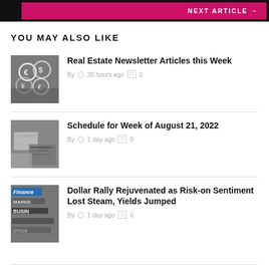NEXT ARTICLE →
YOU MAY ALSO LIKE
Real Estate Newsletter Articles this Week
By  🕐 20 hours ago  🗨 0
Schedule for Week of August 21, 2022
By  🕐 1 day ago  🗨 0
Dollar Rally Rejuvenated as Risk-on Sentiment Lost Steam, Yields Jumped
By  🕐 1 day ago  🗨 0